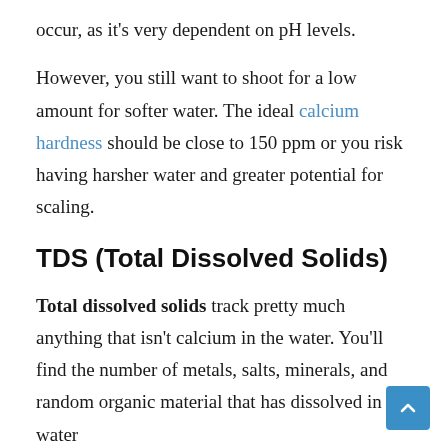occur, as it's very dependent on pH levels.
However, you still want to shoot for a low amount for softer water. The ideal calcium hardness should be close to 150 ppm or you risk having harsher water and greater potential for scaling.
TDS (Total Dissolved Solids)
Total dissolved solids track pretty much anything that isn't calcium in the water. You'll find the number of metals, salts, minerals, and random organic material that has dissolved in the water